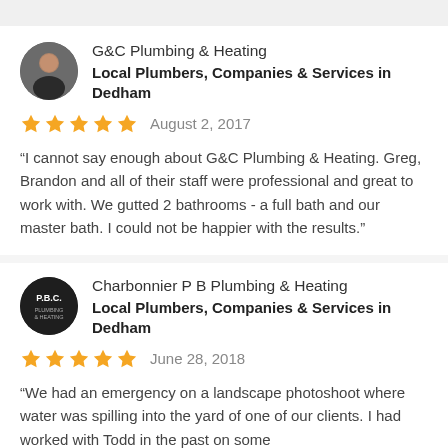[Figure (other): Avatar photo of G&C Plumbing & Heating representative (man in dark shirt)]
G&C Plumbing & Heating
Local Plumbers, Companies & Services in Dedham
★★★★★  August 2, 2017
“I cannot say enough about G&C Plumbing & Heating. Greg, Brandon and all of their staff were professional and great to work with. We gutted 2 bathrooms - a full bath and our master bath. I could not be happier with the results.”
[Figure (logo): Charbonnier P B Plumbing & Heating logo — dark circle with P.B.C. text]
Charbonnier P B Plumbing & Heating
Local Plumbers, Companies & Services in Dedham
★★★★★  June 28, 2018
“We had an emergency on a landscape photoshoot where water was spilling into the yard of one of our clients. I had worked with Todd in the past on some